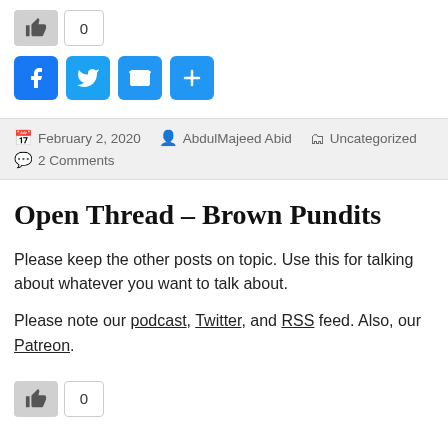[Figure (other): Like button with thumbs up icon showing count 0, and social share icons for Facebook, Twitter, Email, and More]
February 2, 2020  AbdulMajeed Abid  Uncategorized  2 Comments
Open Thread – Brown Pundits
Please keep the other posts on topic. Use this for talking about whatever you want to talk about.
Please note our podcast, Twitter, and RSS feed. Also, our Patreon.